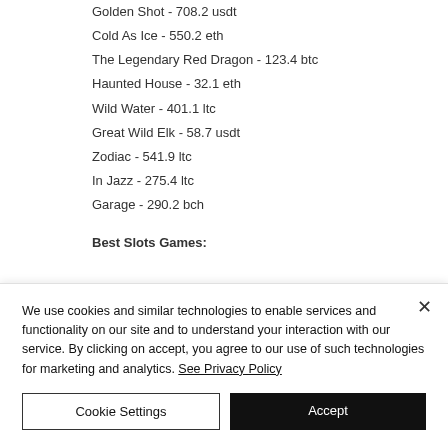Golden Shot - 708.2 usdt
Cold As Ice - 550.2 eth
The Legendary Red Dragon - 123.4 btc
Haunted House - 32.1 eth
Wild Water - 401.1 ltc
Great Wild Elk - 58.7 usdt
Zodiac - 541.9 ltc
In Jazz - 275.4 ltc
Garage - 290.2 bch
Best Slots Games:
We use cookies and similar technologies to enable services and functionality on our site and to understand your interaction with our service. By clicking on accept, you agree to our use of such technologies for marketing and analytics. See Privacy Policy